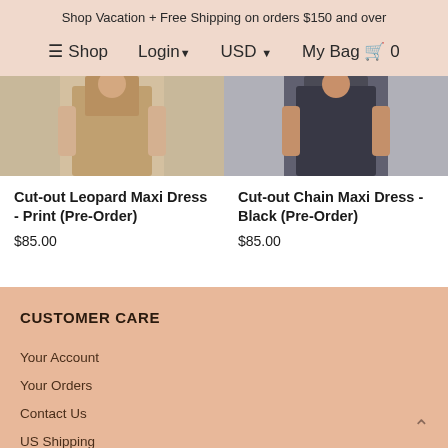Shop Vacation + Free Shipping on orders $150 and over
≡ Shop  Login▾  USD ▾  My Bag 🛍 0
[Figure (photo): Product image of Cut-out Leopard Maxi Dress - Print, showing model wearing dress]
[Figure (photo): Product image of Cut-out Chain Maxi Dress - Black, showing model wearing dress]
Cut-out Leopard Maxi Dress - Print (Pre-Order)
$85.00
Cut-out Chain Maxi Dress - Black (Pre-Order)
$85.00
CUSTOMER CARE
Your Account
Your Orders
Contact Us
US Shipping